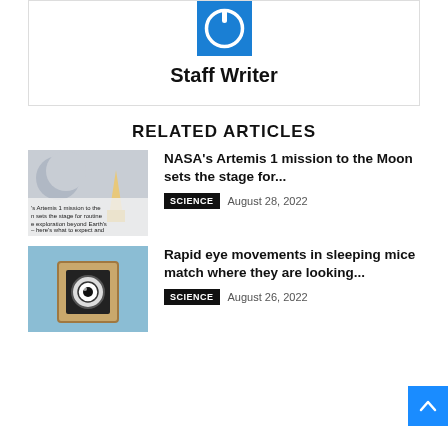[Figure (logo): Blue square with white power button icon]
Staff Writer
RELATED ARTICLES
[Figure (photo): NASA rocket launch with moon in background, article thumbnail]
NASA's Artemis 1 mission to the Moon sets the stage for...
SCIENCE   August 28, 2022
[Figure (photo): Camera-like device on blue background, article thumbnail]
Rapid eye movements in sleeping mice match where they are looking...
SCIENCE   August 26, 2022